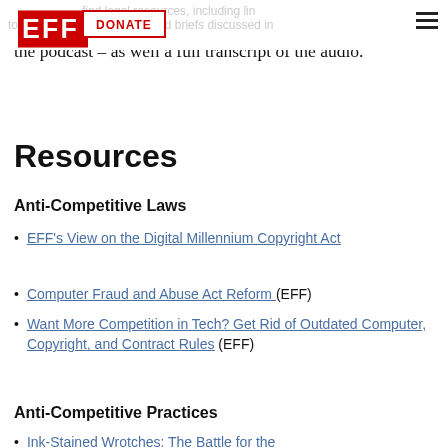EFF | find legal resources including links to important cases, books, and briefs discussed in the podcast – as well a full transcript of the audio. [DONATE button] [hamburger menu]
find legal resources, including links to important cases, books, and briefs discussed in the podcast – as well a full transcript of the audio.
Resources
Anti-Competitive Laws
EFF's View on the Digital Millennium Copyright Act
Computer Fraud and Abuse Act Reform (EFF)
Want More Competition in Tech? Get Rid of Outdated Computer, Copyright, and Contract Rules (EFF)
Anti-Competitive Practices
Ink-Stained Wrotches: The Battle for the